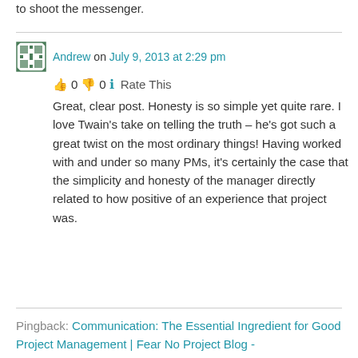to shoot the messenger.
Andrew on July 9, 2013 at 2:29 pm
👍 0 👎 0 ℹ Rate This
Great, clear post. Honesty is so simple yet quite rare. I love Twain's take on telling the truth – he's got such a great twist on the most ordinary things! Having worked with and under so many PMs, it's certainly the case that the simplicity and honesty of the manager directly related to how positive of an experience that project was.
Pingback: Communication: The Essential Ingredient for Good Project Management | Fear No Project Blog -